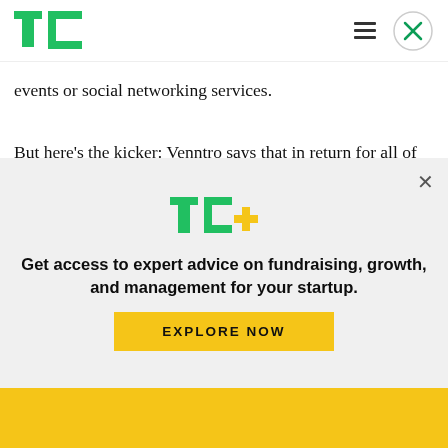TechCrunch header with logo, hamburger menu, and close button
events or social networking services.
But here’s the kicker: Venntro says that in return for all of the above it will take a stake of “up to 40%” in the startups it invests in and incubates. Even to the most starry-eyed entrepreneur that will likely feel on the high side.
[Figure (logo): TechCrunch TC+ logo with green TC and yellow plus sign]
Get access to expert advice on fundraising, growth, and management for your startup.
EXPLORE NOW